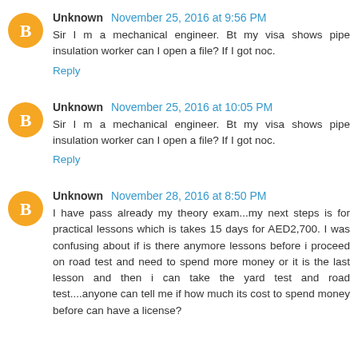Unknown November 25, 2016 at 9:56 PM
Sir I m a mechanical engineer. Bt my visa shows pipe insulation worker can I open a file? If I got noc.
Reply
Unknown November 25, 2016 at 10:05 PM
Sir I m a mechanical engineer. Bt my visa shows pipe insulation worker can I open a file? If I got noc.
Reply
Unknown November 28, 2016 at 8:50 PM
I have pass already my theory exam...my next steps is for practical lessons which is takes 15 days for AED2,700. I was confusing about if is there anymore lessons before i proceed on road test and need to spend more money or it is the last lesson and then i can take the yard test and road test....anyone can tell me if how much its cost to spend money before can have a license?